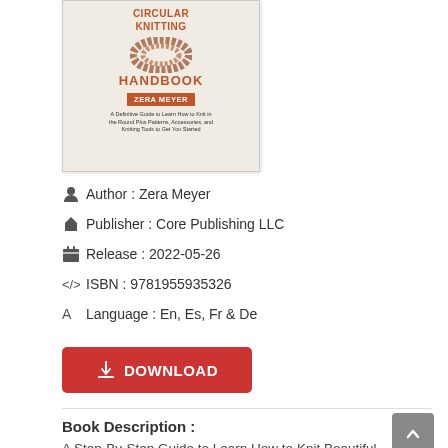[Figure (illustration): Book cover for 'Circular Knitting Handbook' by Zera Meyer, published by Core Publishing LLC. Shows the book title in red/orange text, a circular yarn/knitting illustration, author name on orange background, and subtitle text.]
Author : Zera Meyer
Publisher : Core Publishing LLC
Release : 2022-05-26
ISBN : 9781955935326
Language : En, Es, Fr & De
DOWNLOAD
Book Description :
A Step-By-Step Guide to Learn How to Knit Beautiful